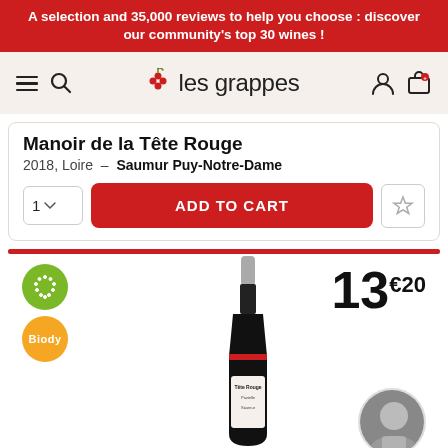A selection and 35,000 reviews to help you choose : discover our community's top 30 wines !
[Figure (logo): les grappes wine platform logo with grape cluster icon and navigation icons (hamburger menu, search, user, cart)]
Manoir de la Tête Rouge
2018, Loire - Saumur Puy-Notre-Dame
ADD TO CART — quantity selector (1) and wishlist star button
[Figure (photo): Red wine bottle with label reading Manoir de la Tête Rouge — Pazielle Saumur, alongside organic certification badge and Biody badge, price 13€20, and circular grayscale portrait photo of a person]